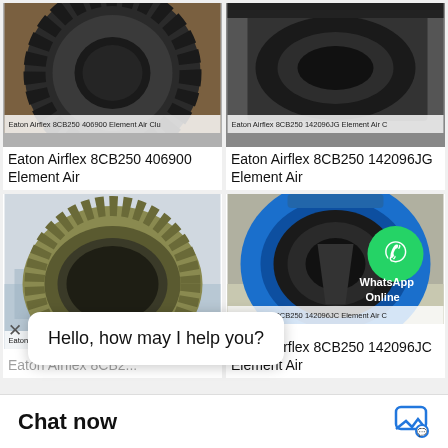[Figure (photo): Eaton Airflex 8CB250 406900 Element Air Clutch industrial part, dark metallic gear-like ring component on wooden pallet]
Eaton Airflex 8CB250 406900 Element Air
[Figure (photo): Eaton Airflex 8CB250 142096JG Element Air Clutch, black circular ring component on dark background]
Eaton Airflex 8CB250 142096JG Element Air
[Figure (photo): Eaton Airflex 8CB250 142096JC Element Air Clutch, olive/gold colored large ring component against city skyline background]
[Figure (photo): Eaton Airflex 8CB250 142096JC Element Air Clutch, blue-framed ring component with WhatsApp Online badge overlay]
Eaton Airflex 8CB250 142096JC Element Air
Hello, how may I help you?
Chat now